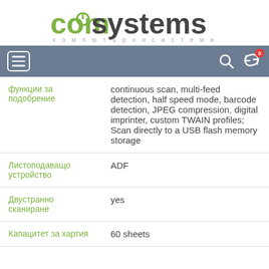[Figure (logo): ComSystems logo with green 'com' and dark 'systems' text, power icon, tagline 'компютърни системи']
[Figure (screenshot): Navigation bar with hamburger menu, search icon, and cart icon with badge showing 0]
| функции за подобрение | continuous scan, multi-feed detection, half speed mode, barcode detection, JPEG compression, digital imprinter, custom TWAIN profiles; Scan directly to a USB flash memory storage |
| Листоподаващо устройство | ADF |
| Двустранно сканиране | yes |
| Капацитет за хартия | 60 sheets |